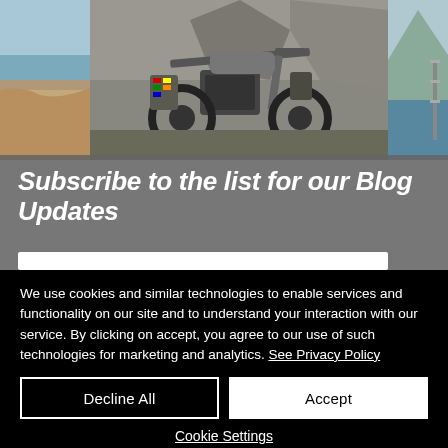[Figure (photo): Motorcycle with stickers parked on road, flanked by landscape photos on left and right. Left photo shows coastal cliff scene, right photo shows mountain/water scene.]
Subscribe to the list for our Blog Updates
We use cookies and similar technologies to enable services and functionality on our site and to understand your interaction with our service. By clicking on accept, you agree to our use of such technologies for marketing and analytics. See Privacy Policy
Decline All
Accept
Cookie Settings